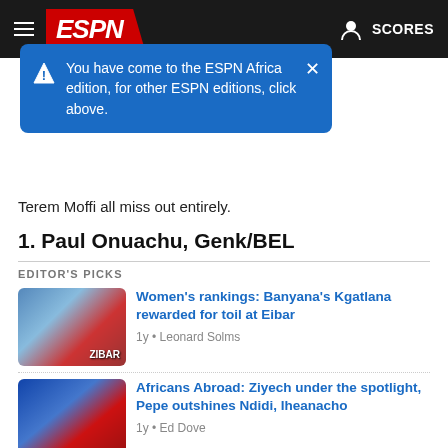ESPN Africa
[Figure (screenshot): Blue tooltip popup: 'You have come to the ESPN Africa edition, for other ESPN editions, click above.' with close X button]
Terem Moffi all miss out entirely.
1. Paul Onuachu, Genk/BEL
EDITOR'S PICKS
[Figure (photo): Women's soccer player at Eibar stadium]
Women's rankings: Banyana's Kgatlana rewarded for toil at Eibar
1y • Leonard Solms
[Figure (photo): Soccer players in blue and red jerseys]
Africans Abroad: Ziyech under the spotlight, Pepe outshines Ndidi, Iheanacho
1y • Ed Dove
After a January in which he rattled off seven goals in seven